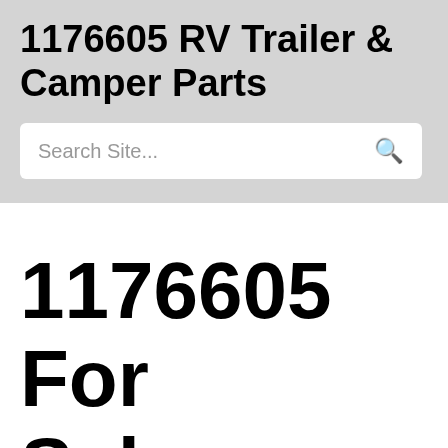1176605 RV Trailer & Camper Parts
Search Site...
1176605 For Sale